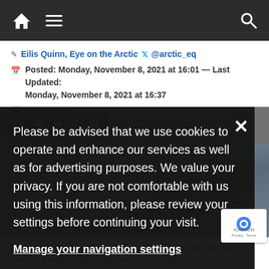Navigation bar with home, menu, and search icons
Eilis Quinn, Eye on the Arctic @arctic_eq
Posted: Monday, November 8, 2021 at 16:01 — Last Updated: Monday, November 8, 2021 at 16:37
0 Comments
Please be advised that we use cookies to operate and enhance our services as well as for advertising purposes. We value your privacy. If you are not comfortable with us using this information, please review your settings before continuing your visit.
Manage your navigation settings
Find out more
[Figure (photo): Photo of the Nunavik community of Akulivik, partially obscured by cookie banner]
The Nunavik community of Akulivik. The community was put on alert this weekend after three individuals tested positive, but had